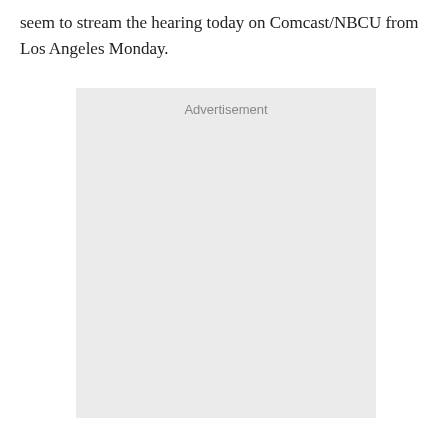seem to stream the hearing today on Comcast/NBCU from Los Angeles Monday.
[Figure (other): Advertisement placeholder box with light gray background and 'Advertisement' label at top center]